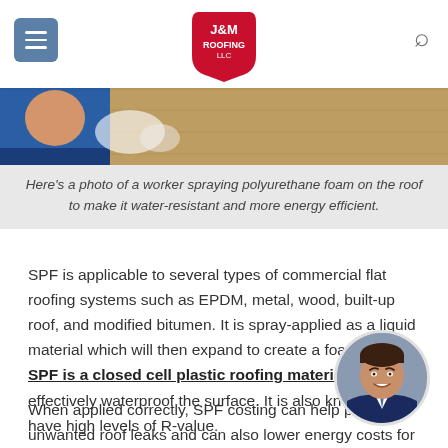J&M Roofing LLC
[Figure (photo): Hero image showing a worker spraying polyurethane foam on a roof surface, partial view of worker in blue and wood/OSB board texture]
Here's a photo of a worker spraying polyurethane foam on the roof to make it water-resistant and more energy efficient.
SPF is applicable to several types of commercial flat roofing systems such as EPDM, metal, wood, built-up roof, and modified bitumen. It is spray-applied as a liquid material which will then expand to create a foam. An SPF is a closed cell plastic roofing material that can effectively waterproof the surface. It is also known to have high levels of R-value.
When applied correctly, SPF costing can help prevent unwanted roof leaks and can also lower energy costs for
[Figure (photo): Circular portrait photo of a man in a suit smiling]